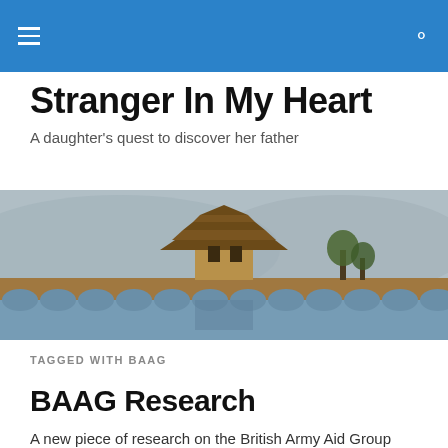≡  🔍
Stranger In My Heart
A daughter's quest to discover her father
[Figure (photo): Panoramic photo of a historic Chinese arched stone bridge over a calm river, with a traditional multi-tiered pagoda tower in the center, mountains and town visible in the background.]
TAGGED WITH BAAG
BAAG Research
A new piece of research on the British Army Aid Group